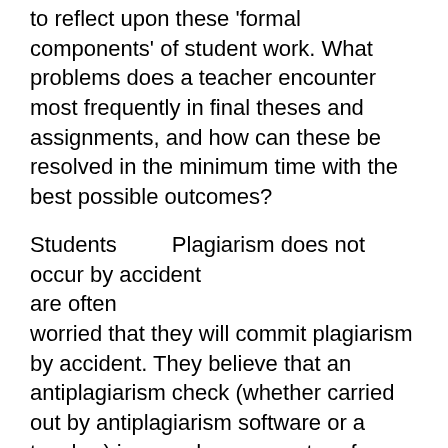to reflect upon these 'formal components' of student work. What problems does a teacher encounter most frequently in final theses and assignments, and how can these be resolved in the minimum time with the best possible outcomes?
Students are often worried that they will commit plagiarism by accident. They believe that an antiplagiarism check (whether carried out by antiplagiarism software or a teacher) is a random generator of sanctions which may affect anyone – after all, everyone overlooks something every now and then, or does not manage to add a citation while making final edits and feeling stressed. In reality, the chances that a serious form of plagiarism will result accidentally are very small
Plagiarism does not occur by accident